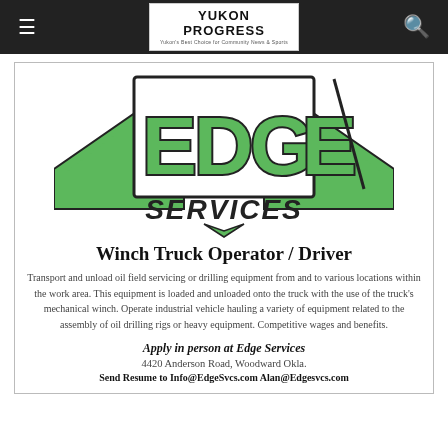Yukon Progress — Yukon's Best Choice for Community News & Sports
[Figure (logo): Edge Services company logo — large stylized green and black letters spelling EDGE with wings/chevron design, and SERVICES in italic script below]
Winch Truck Operator / Driver
Transport and unload oil field servicing or drilling equipment from and to various locations within the work area. This equipment is loaded and unloaded onto the truck with the use of the truck's mechanical winch. Operate industrial vehicle hauling a variety of equipment related to the assembly of oil drilling rigs or heavy equipment. Competitive wages and benefits.
Apply in person at Edge Services
4420 Anderson Road, Woodward Okla.
Send Resume to Info@EdgeSvcs.com Alan@Edgesvcs.com